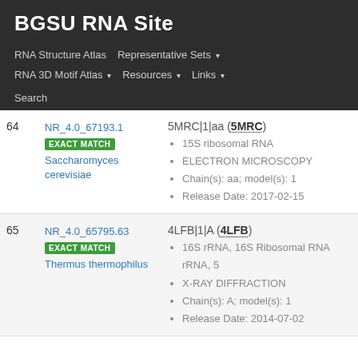BGSU RNA Site
RNA Structure Atlas | Representative Sets ▾ | RNA 3D Motif Atlas ▾ | Resources ▾ | Links ▾ | Search
| # | ID / Organism | PDB Entry / Details |
| --- | --- | --- |
| 64 | NR_4.0_67193.1
EXACT MATCH
Saccharomyces cerevisiae | 5MRC|1|aa (5MRC)
• 15S ribosomal RNA
• ELECTRON MICROSCOPY
• Chain(s): aa; model(s): 1
• Release Date: 2017-02-15 |
| 65 | NR_4.0_65795.63
EXACT MATCH
Thermus thermophilus | 4LFB|1|A (4LFB)
• 16S rRNA, 16S Ribosomal RNA rRNA, 5
• X-RAY DIFFRACTION
• Chain(s): A; model(s): 1
• Release Date: 2014-07-02 |